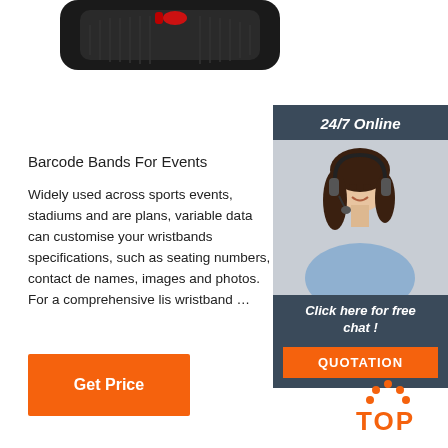[Figure (photo): Close-up photo of a barcode wristband with red accents on black strap, partially visible at top of page]
[Figure (photo): Sidebar with dark blue background showing a smiling woman wearing a headset (customer support agent), with '24/7 Online' header, 'Click here for free chat!' text, and orange QUOTATION button]
Barcode Bands For Events
Widely used across sports events, stadiums and are plans, variable data can customise your wristbands specifications, such as seating numbers, contact de names, images and photos. For a comprehensive lis wristband …
[Figure (other): Orange 'Get Price' button]
[Figure (logo): TOP logo with orange dots arranged in an arc above the letters TOP in orange]